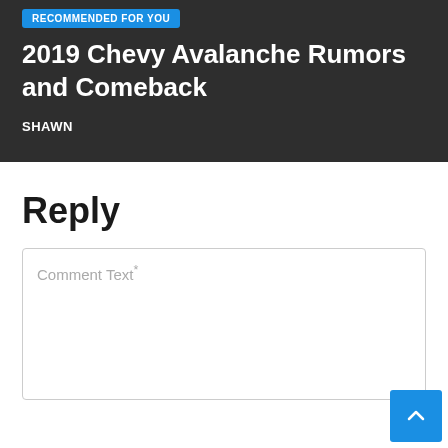RECOMMENDED FOR YOU
2019 Chevy Avalanche Rumors and Comeback
SHAWN
Reply
Comment Text*